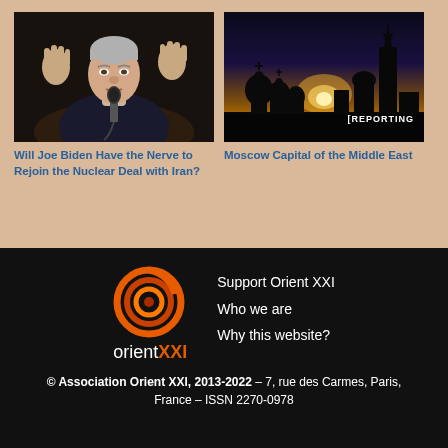[Figure (photo): Photo of Joe Biden speaking at a microphone with hands raised, dark background]
[Figure (photo): Silhouette of Moscow skyline with domes against a golden sunset sky, with [REPORTING label overlay]
Will Joe Biden Have the Nerve to Rejoin the Nuclear Deal with Iran?
Moscow Capital of the Middle East
[Figure (logo): Orient XXI logo - circular orange/red spiral graphic with text orientXXI]
Support Orient XXI
Who we are
Why this website?
© Association Orient XXI, 2013-2022 – 7, rue des Carmes, Paris, France – ISSN 2270-0978